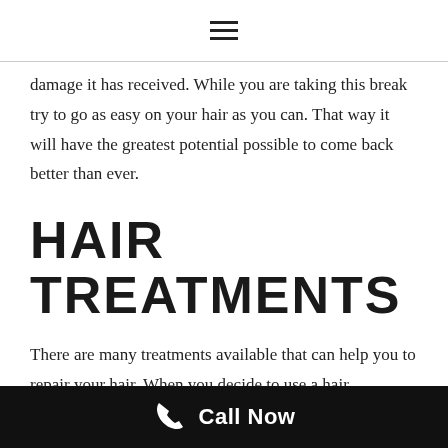≡
damage it has received. While you are taking this break try to go as easy on your hair as you can. That way it will have the greatest potential possible to come back better than ever.
HAIR TREATMENTS
There are many treatments available that can help you to repair your hair. When you decide to use a hair treatment, it's important to do your research to find one that is best for your hair type. Some of her treatments can be done at home while others will require you to go into the salon. There are also many hair treatments you can make using simple ingredients in your home. You will want to use
Call Now